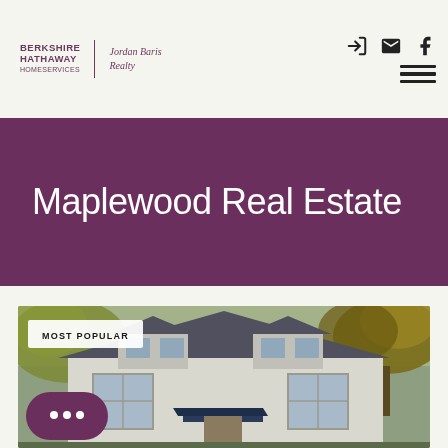Berkshire Hathaway HomeServices | Jordan Baris Realty
Maplewood Real Estate
[Figure (photo): Exterior photo of a colonial-style house with grey roof, white siding, dormer windows, autumn trees in background, and a dark awning over the entrance. Badge reads MOST POPULAR. Purple chat bubble widget in lower left corner.]